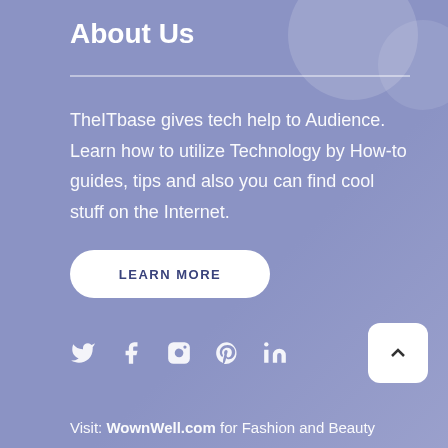About Us
TheITbase gives tech help to Audience. Learn how to utilize Technology by How-to guides, tips and also you can find cool stuff on the Internet.
LEARN MORE
[Figure (infographic): Row of 5 social media icons: Twitter bird, Facebook f, Instagram camera, Pinterest p, LinkedIn in]
[Figure (infographic): Back-to-top button: white rounded square with upward chevron arrow]
Visit: WownWell.com for Fashion and Beauty